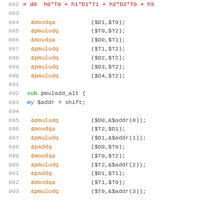882  # d0 * h0*T0 + h1*D1*T1 + h2*D2*T0 + h3...
883
884    &movdqa    ($D1,$T0);
885    &pmuludq   ($T0,$T2);
886    &movdqa    ($D0,$T1);
887    &pmuludq   ($T1,$T2);
888    &pmuludq   ($D2,$T2);
889    &pmuludq   ($D3,$T2);
890    &pmuludq   ($D4,$T2);
891
892  sub pmuladd_alt {
893  my $addr = shift;
894
895    &pmuludq   ($D0,&$addr(8));
896    &movdqa    ($T2,$D1);
897    &pmuludq   ($D1,&$addr(1));
898    &paddq     ($D0,$T0);
899    &movdqa    ($T0,$T2);
900    &pmuludq   ($T2,&$addr(2));
901    &paddq     ($D1,$T1);
902    &movdqa    ($T1,$T0);
903    &pmuludq   ($T0,&$addr(3));